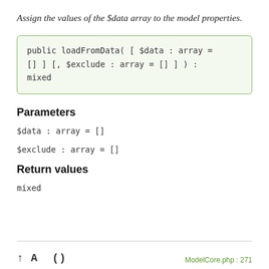Assign the values of the $data array to the model properties.
public loadFromData( [ $data : array = [] ] [, $exclude : array = [] ] ) : mixed
Parameters
$data : array = []
$exclude : array = []
Return values
mixed
ModelCore.php : 271